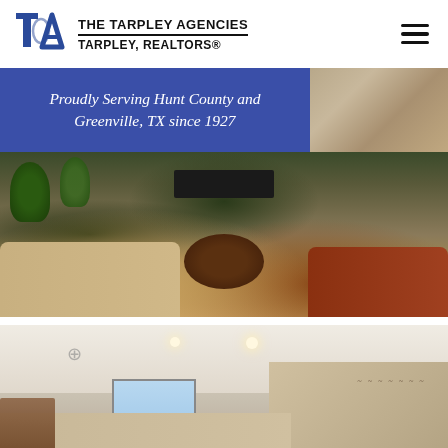[Figure (logo): The Tarpley Agencies logo with stylized TA monogram in blue and text reading THE TARPLEY AGENCIES / TARPLEY, REALTORS®]
Proudly Serving Hunt County and Greenville, TX since 1927
[Figure (photo): Interior living room photo showing leather and fabric sofas, a round wooden coffee table with wrought iron base, houseplants, tiled floor, and a fireplace in the background]
[Figure (photo): Interior photo showing a room with recessed lighting, stone accent wall, decorative wall art, ceiling fan, and a window]